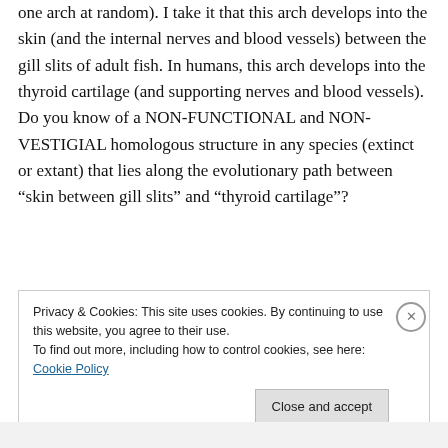one arch at random). I take it that this arch develops into the skin (and the internal nerves and blood vessels) between the gill slits of adult fish. In humans, this arch develops into the thyroid cartilage (and supporting nerves and blood vessels). Do you know of a NON-FUNCTIONAL and NON-VESTIGIAL homologous structure in any species (extinct or extant) that lies along the evolutionary path between “skin between gill slits” and “thyroid cartilage”?
Privacy & Cookies: This site uses cookies. By continuing to use this website, you agree to their use.
To find out more, including how to control cookies, see here: Cookie Policy